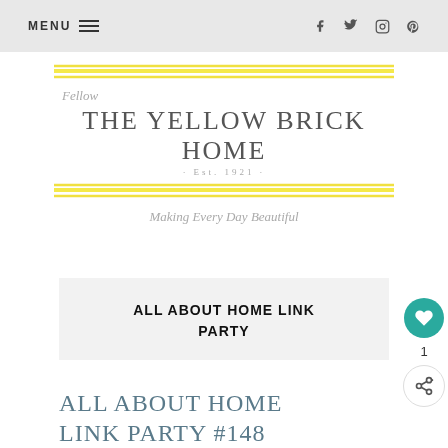MENU | social icons: facebook, twitter, instagram, pinterest
[Figure (logo): The Yellow Brick Home blog logo with yellow horizontal lines, script text 'Fellow', serif brand name 'THE YELLOW BRICK HOME', '· Est. 1921 ·', and tagline 'Making Every Day Beautiful']
ALL ABOUT HOME LINK PARTY
ALL ABOUT HOME LINK PARTY #148
June 13, 2022 · 2 Comments